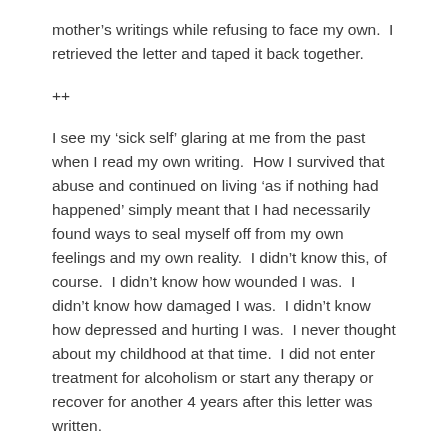mother’s writings while refusing to face my own.  I retrieved the letter and taped it back together.
++
I see my ‘sick self’ glaring at me from the past when I read my own writing.  How I survived that abuse and continued on living ‘as if nothing had happened’ simply meant that I had necessarily found ways to seal myself off from my own feelings and my own reality.  I didn’t know this, of course.  I didn’t know how wounded I was.  I didn’t know how damaged I was.  I didn’t know how depressed and hurting I was.  I never thought about my childhood at that time.  I did not enter treatment for alcoholism or start any therapy or recover for another 4 years after this letter was written.